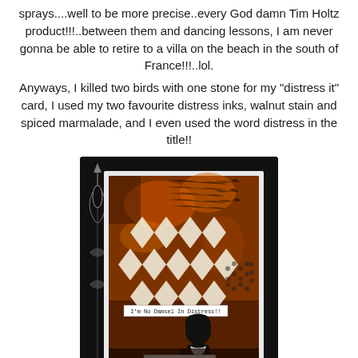sprays....well to be more precise..every God damn Tim Holtz product!!!..between them and dancing lessons, I am never gonna be able to retire to a villa on the beach in the south of France!!!..lol.
Anyways, I killed two birds with one stone for my "distress it" card, I used my two favourite distress inks, walnut stain and spiced marmalade, and I even used the word distress in the title!!
[Figure (photo): A handmade distress art card featuring walnut stain and spiced marmalade distress inks, with a diamond/argyle stencil pattern in cream/white over a dark rust-brown background. A silhouette of a woman is visible at the bottom. Two small text labels are visible: 'I'm No Damsel In Distress!!' and 'I'm a woman who...'. The card is mounted on a dark black background with decorative art nouveau style border elements.]